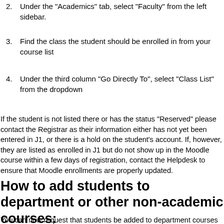2. Under the "Academics" tab, select "Faculty" from the left sidebar.
3. Find the class the student should be enrolled in from your course list
4. Under the third column "Go Directly To", select "Class List" from the dropdown
If the student is not listed there or has the status "Reserved" please contact the Registrar as their information either has not yet been entered in J1, or there is a hold on the student's account. If, however, they are listed as enrolled in J1 but do not show up in the Moodle course within a few days of registration, contact the Helpdesk to ensure that Moodle enrollments are properly updated.
How to add students to department or other non-academic courses:
You can now request that students be added to department courses